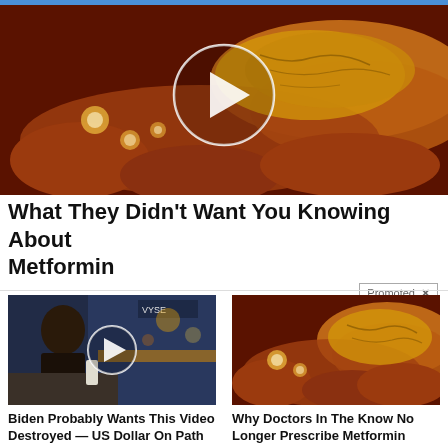[Figure (illustration): Medical illustration of internal organs (intestines/pancreas) with a play button overlay circle in the center, dark reddish-brown anatomical background]
What They Didn't Want You Knowing About Metformin
Promoted X
[Figure (screenshot): Video thumbnail of a man in a dark suit at a news desk with NYSE signage in background, play button overlay]
[Figure (illustration): Medical illustration of internal organs similar to top image, pancreas and intestines visible]
Biden Probably Wants This Video Destroyed — US Dollar On Path Towards Replacement?
🔥 36,396
Why Doctors In The Know No Longer Prescribe Metformin
🔥 100,139